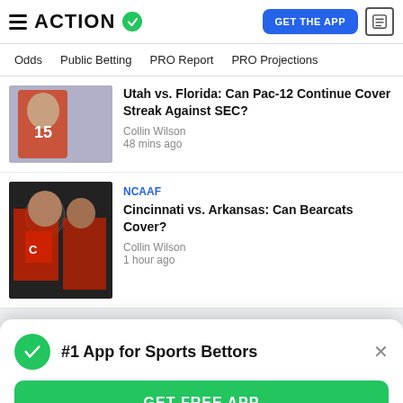ACTION — GET THE APP
Odds | Public Betting | PRO Report | PRO Projections
Utah vs. Florida: Can Pac-12 Continue Cover Streak Against SEC?
Collin Wilson
48 mins ago
NCAAF
Cincinnati vs. Arkansas: Can Bearcats Cover?
Collin Wilson
1 hour ago
#1 App for Sports Bettors
GET FREE APP